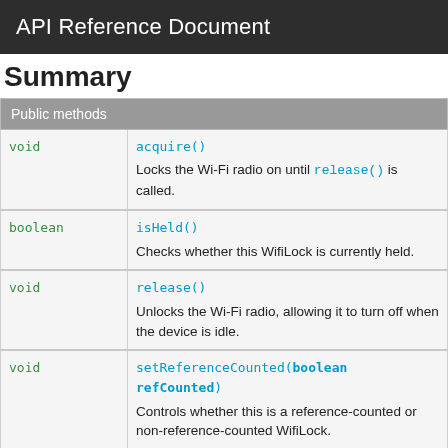API Reference Document
Summary
|  | Public methods |
| --- | --- |
| void | acquire()
Locks the Wi-Fi radio on until release() is called. |
| boolean | isHeld()
Checks whether this WifiLock is currently held. |
| void | release()
Unlocks the Wi-Fi radio, allowing it to turn off when the device is idle. |
| void | setReferenceCounted(boolean refCounted)
Controls whether this is a reference-counted or non-reference-counted WifiLock. |
| void | setWorkSource(WorkSource ws) |
| String | toString() |